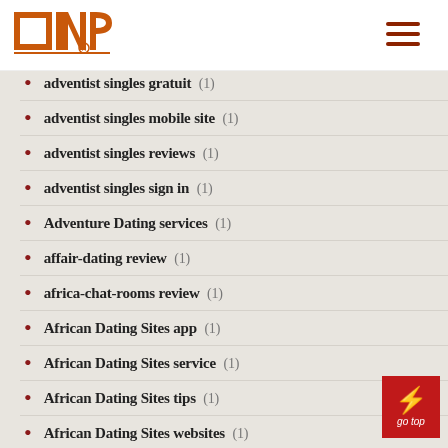INP logo and navigation
adventist singles gratuit (1)
adventist singles mobile site (1)
adventist singles reviews (1)
adventist singles sign in (1)
Adventure Dating services (1)
affair-dating review (1)
africa-chat-rooms review (1)
African Dating Sites app (1)
African Dating Sites service (1)
African Dating Sites tips (1)
African Dating Sites websites (1)